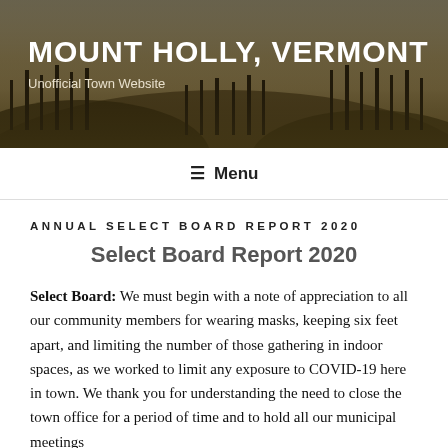[Figure (photo): Header banner showing Mount Holly, Vermont landscape with trees and hills in autumn/winter, dark overlay with white text]
MOUNT HOLLY, VERMONT
Unofficial Town Website
≡ Menu
ANNUAL SELECT BOARD REPORT 2020
Select Board Report 2020
Select Board: We must begin with a note of appreciation to all our community members for wearing masks, keeping six feet apart, and limiting the number of those gathering in indoor spaces, as we worked to limit any exposure to COVID-19 here in town. We thank you for understanding the need to close the town office for a period of time and to hold all our municipal meetings